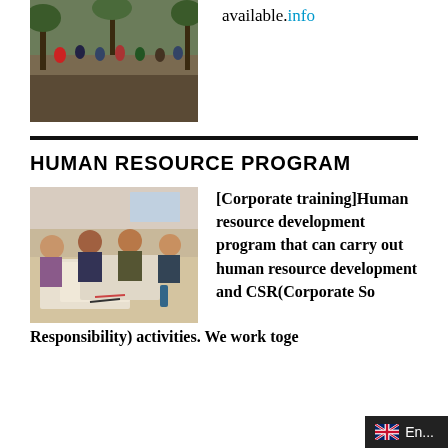[Figure (photo): Group of people walking on muddy forest path]
available.info
HUMAN RESOURCE PROGRAM
[Figure (photo): People sitting around a table working on documents/papers in a meeting or training session]
[Corporate training]Human resource development program that can carry out human resource development and CSR(Corporate Social Responsibility) activities. We work toge...